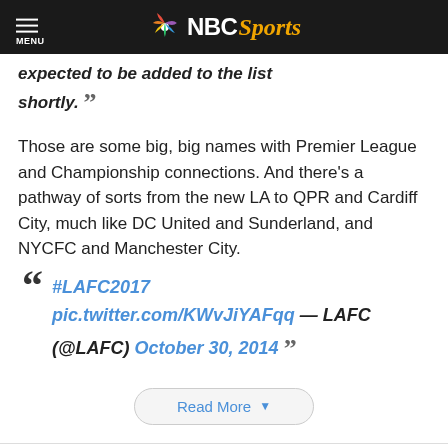NBC Sports
expected to be added to the list shortly.
Those are some big, big names with Premier League and Championship connections. And there's a pathway of sorts from the new LA to QPR and Cardiff City, much like DC United and Sunderland, and NYCFC and Manchester City.
#LAFC2017 pic.twitter.com/KWvJiYAFqq — LAFC (@LAFC) October 30, 2014
Read More
View Comments